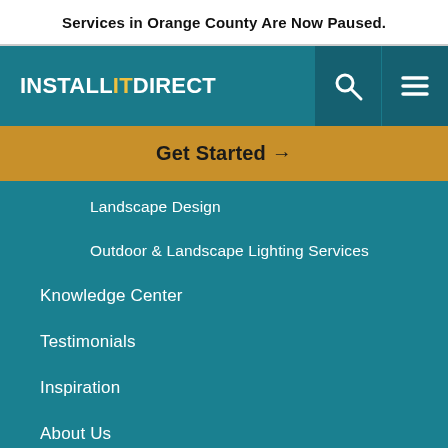Services in Orange County Are Now Paused.
[Figure (logo): INSTALL IT DIRECT logo in white and yellow text on teal background, with search icon and hamburger menu icon]
Get Started →
Landscape Design
Outdoor & Landscape Lighting Services
Knowledge Center
Testimonials
Inspiration
About Us